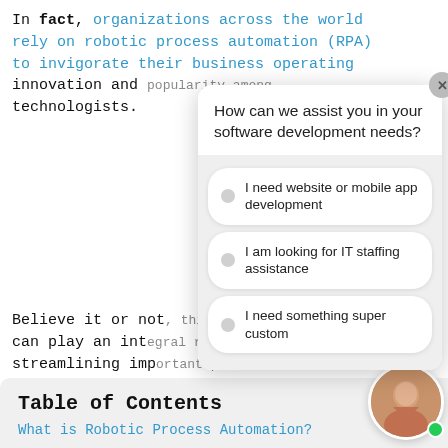In fact, organizations across the world rely on robotic process automation (RPA) to invigorate their business operations, fostering RPA innovation and popularity among technologists.
[Figure (screenshot): Chat popup overlay with question 'How can we assist you in your software development needs?' and three radio button options: 'I need website or mobile app development', 'I am looking for IT staffing assistance', 'I need something super custom'. Has a close (X) button in top right.]
Believe it or not, this innovation can play an integral role in streamlining important processes for your business. To better explain what RPA is, we gathered helpful information to help you lay the framework in understanding this technology.
Table of Contents
What is Robotic Process Automation?